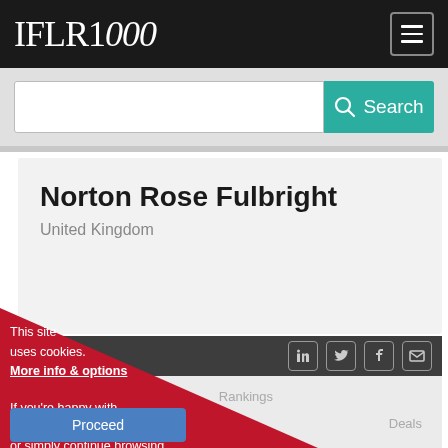IFLR1000
[Figure (screenshot): Search bar with teal Search button]
Norton Rose Fulbright
United Kingdom
[Figure (screenshot): Social media icons bar: LinkedIn, Twitter, Facebook, Email]
News & Features
Jurisdictions
Rankings
Deals
This site uses cookies.
More info & options

If you're happy with cookies, click Proceed or simply continue browsing
Proceed